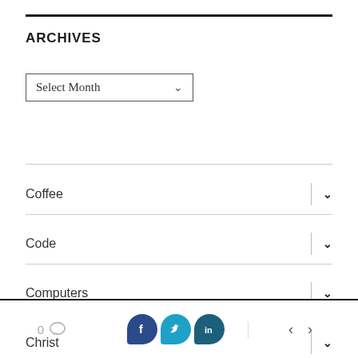ARCHIVES
[Figure (other): Select Month dropdown widget]
Coffee
Code
Computers
Christ
0 [comment] [Facebook] [Twitter] [LinkedIn] < >